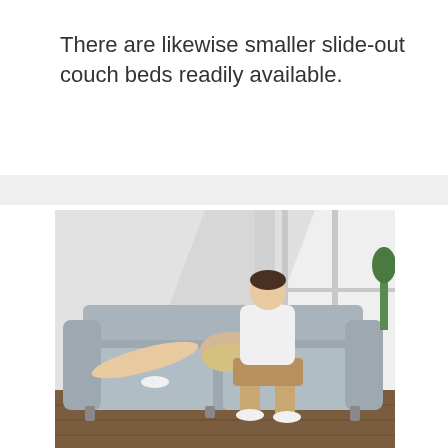There are likewise smaller slide-out couch beds readily available.
[Figure (photo): A young couple sitting on a gray slide-out sofa/couch bed in a bright room with white brick walls and large windows letting in sunlight. The woman is lying across the man's lap. Both are wearing casual clothing and white socks. The floor is dark hardwood.]